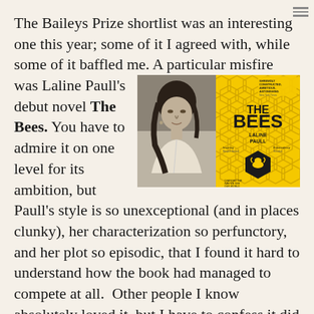The Baileys Prize shortlist was an interesting one this year; some of it I agreed with, while some of it baffled me. A particular misfire was Laline Paull's debut novel The Bees. You have to admire it on one level for its ambition, but Paull's style is so unexceptional (and in places clunky), her characterization so perfunctory, and her plot so episodic, that I found it hard to understand how the book had managed to compete at all. Other people I know absolutely loved it, but I have to confess it did little for me; I
[Figure (photo): Black and white author photo of Laline Paull alongside the yellow book cover of 'The Bees' by Laline Paull]